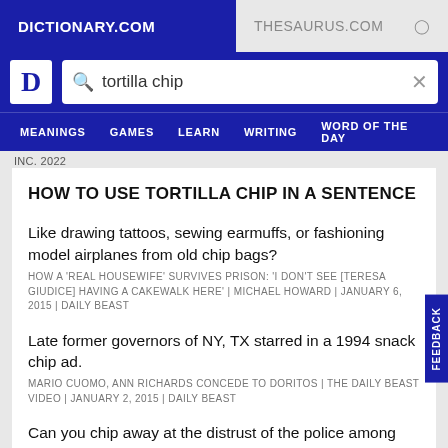DICTIONARY.COM | THESAURUS.COM
[Figure (screenshot): Dictionary.com website search bar with 'tortilla chip' entered]
HOW TO USE TORTILLA CHIP IN A SENTENCE
Like drawing tattoos, sewing earmuffs, or fashioning model airplanes from old chip bags?
HOW A 'REAL HOUSEWIFE' SURVIVES PRISON: 'I DON'T SEE [TERESA GIUDICE] HAVING A CAKEWALK HERE' | MICHAEL HOWARD | JANUARY 6, 2015 | DAILY BEAST
Late former governors of NY, TX starred in a 1994 snack chip ad.
MARIO CUOMO, ANN RICHARDS CONCEDE TO DORITOS | THE DAILY BEAST VIDEO | JANUARY 2, 2015 | DAILY BEAST
Can you chip away at the distrust of the police among